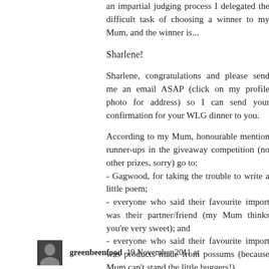an impartial judging process I delegated the difficult task of choosing a winner to my Mum, and the winner is...
Sharlene!
Sharlene, congratulations and please send me an email ASAP (click on my profile photo for address) so I can send your confirmation for your WLG dinner to you.
According to my Mum, honourable mention runner-ups in the giveaway competition (no other prizes, sorry) go to:
- Gagwood, for taking the trouble to write a little poem;
- everyone who said their favourite import was their partner/friend (my Mum thinks you're very sweet); and
- everyone who said their favourite import was products made from possums (because Mum can't stand the little buggers!).
Thanks again!
Reply
greenbeenfood  19 November 2011 at